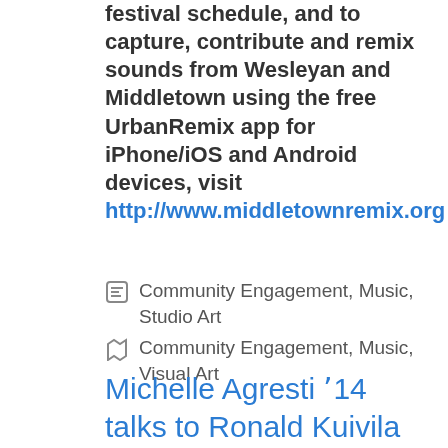festival schedule, and to capture, contribute and remix sounds from Wesleyan and Middletown using the free UrbanRemix app for iPhone/iOS and Android devices, visit http://www.middletownremix.org
Categories: Community Engagement, Music, Studio Art
Tags: Community Engagement, Music, Visual Art
Michelle Agresti '14 talks to Ronald Kuivila about MiddletownRemix Festival